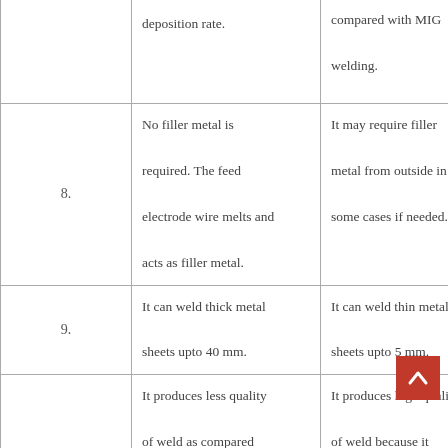|  | MIG | TIG |
| --- | --- | --- |
|  | deposition rate. | compared with MIG welding. |
| 8. | No filler metal is required. The feed electrode wire melts and acts as filler metal. | It may require filler metal from outside in some cases if needed. |
| 9. | It can weld thick metal sheets upto 40 mm. | It can weld thin metal sheets upto 5 mm. |
| 10. | It produces less quality of weld as compared with TIG. | It produces high quality of weld because it affords greater control over weld area. |
| 11. | It uses continuous wire feed. | It does not uses continuous wire feed. |
|  | The equipment... | The equipment used in |